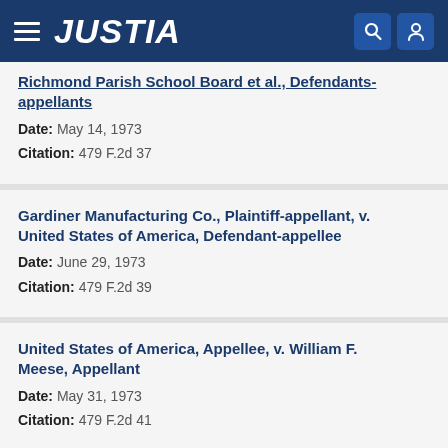JUSTIA
Richmond Parish School Board et al., Defendants-appellants
Date: May 14, 1973
Citation: 479 F.2d 37
Gardiner Manufacturing Co., Plaintiff-appellant, v. United States of America, Defendant-appellee
Date: June 29, 1973
Citation: 479 F.2d 39
United States of America, Appellee, v. William F. Meese, Appellant
Date: May 31, 1973
Citation: 479 F.2d 41